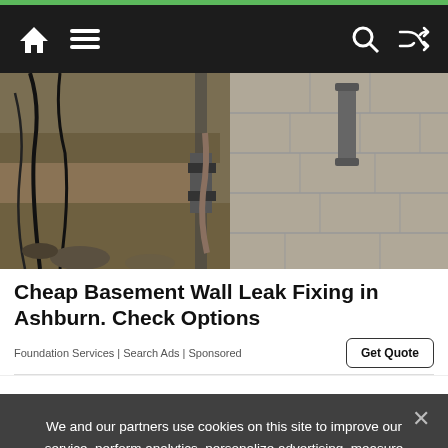Navigation bar with home, menu, search, and shuffle icons
[Figure (photo): Excavated foundation wall showing concrete block foundation with wall crack repair work in progress, cables and machinery visible]
Cheap Basement Wall Leak Fixing in Ashburn. Check Options
Foundation Services | Search Ads | Sponsored
Get Quote
We and our partners use cookies on this site to improve our service, perform analytics, personalize advertising, measure advertising performance, and remember website preferences.
Ok